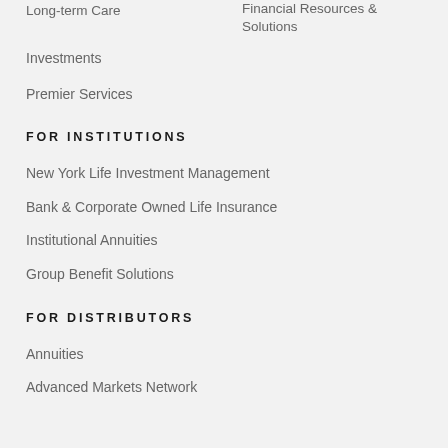Long-term Care
Financial Resources & Solutions
Investments
Premier Services
FOR INSTITUTIONS
New York Life Investment Management
Bank & Corporate Owned Life Insurance
Institutional Annuities
Group Benefit Solutions
FOR DISTRIBUTORS
Annuities
Advanced Markets Network